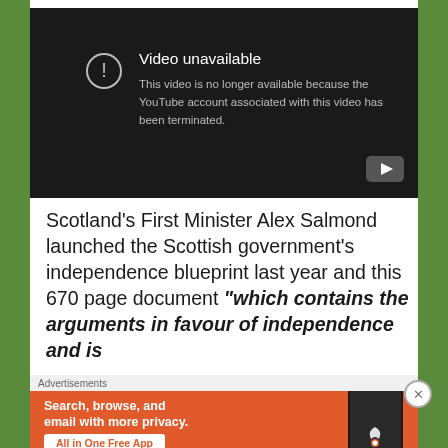[Figure (screenshot): YouTube video unavailable error screen with dark background showing exclamation icon, 'Video unavailable' title, and message 'This video is no longer available because the YouTube account associated with this video has been terminated.' YouTube logo in bottom right corner.]
Scotland's First Minister Alex Salmond launched the Scottish government's independence blueprint last year and this 670 page document “which contains the arguments in favour of independence and is
Advertisements
[Figure (screenshot): DuckDuckGo advertisement banner in orange showing 'Search, browse, and email with more privacy. All in One Free App' with a phone showing DuckDuckGo app on the right side.]